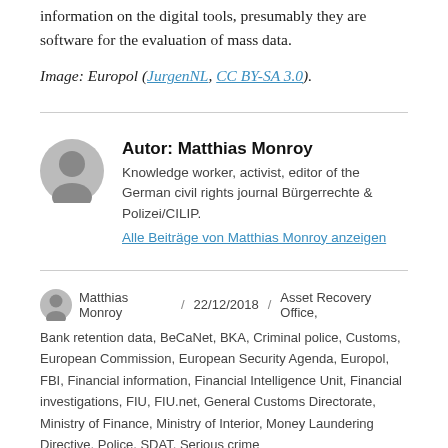information on the digital tools, presumably they are software for the evaluation of mass data.
Image: Europol (JurgenNL, CC BY-SA 3.0).
Autor: Matthias Monroy
Knowledge worker, activist, editor of the German civil rights journal Bürgerrechte & Polizei/CILIP.
Alle Beiträge von Matthias Monroy anzeigen
Matthias Monroy / 22/12/2018 / Asset Recovery Office, Bank retention data, BeCaNet, BKA, Criminal police, Customs, European Commission, European Security Agenda, Europol, FBI, Financial information, Financial Intelligence Unit, Financial investigations, FIU, FIU.net, General Customs Directorate, Ministry of Finance, Ministry of Interior, Money Laundering Directive, Police, SDAT, Serious crime